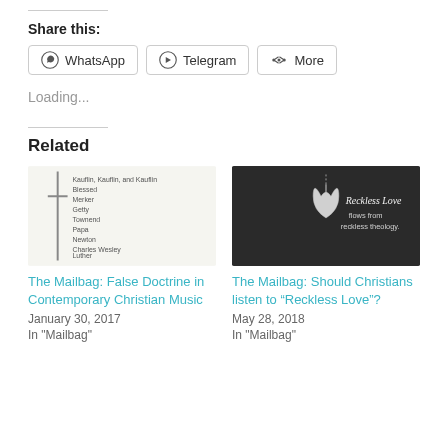Share this:
WhatsApp  Telegram  More
Loading...
Related
[Figure (screenshot): Thumbnail image for 'The Mailbag: False Doctrine in Contemporary Christian Music' showing a list of names and a cross icon]
The Mailbag: False Doctrine in Contemporary Christian Music
January 30, 2017
In "Mailbag"
[Figure (photo): Dark background image with a white clay heart hanging on string, text reads 'Reckless Love flows from reckless theology.']
The Mailbag: Should Christians listen to “Reckless Love”?
May 28, 2018
In "Mailbag"